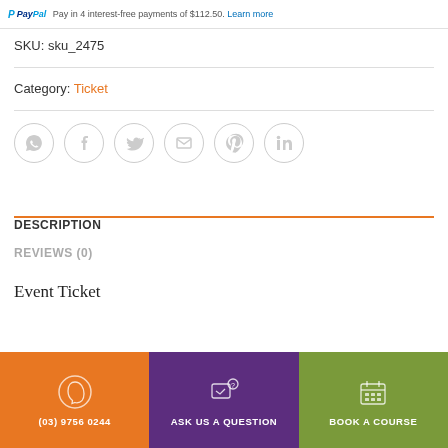PayPal Pay in 4 interest-free payments of $112.50. Learn more
SKU: sku_2475
Category: Ticket
[Figure (other): Row of social sharing icons: WhatsApp, Facebook, Twitter, Email, Pinterest, LinkedIn — all circular with grey outlines]
DESCRIPTION
REVIEWS (0)
Event Ticket
(03) 9756 0244
ASK US A QUESTION
BOOK A COURSE